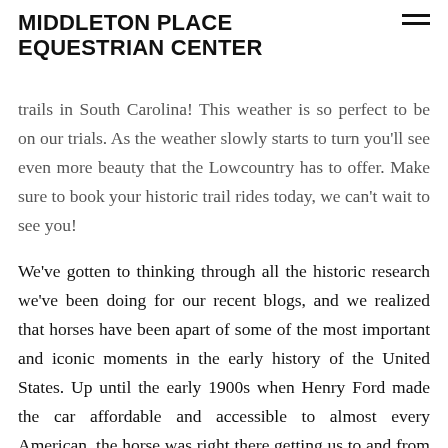MIDDLETON PLACE EQUESTRIAN CENTER
trails in South Carolina! This weather is so perfect to be on our trials. As the weather slowly starts to turn you'll see even more beauty that the Lowcountry has to offer. Make sure to book your historic trail rides today, we can't wait to see you!
We've gotten to thinking through all the historic research we've been doing for our recent blogs, and we realized that horses have been apart of some of the most important and iconic moments in the early history of the United States. Up until the early 1900s when Henry Ford made the car affordable and accessible to almost every American, the horse was right there getting us to and from everyday tasks and events, some